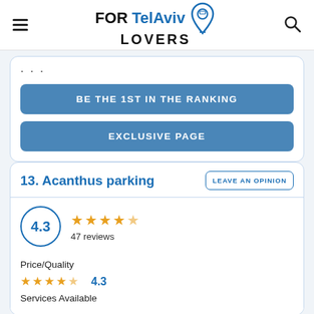FOR Tel Aviv LOVERS
...
BE THE 1ST IN THE RANKING
EXCLUSIVE PAGE
13. Acanthus parking
LEAVE AN OPINION
4.3
47 reviews
Price/Quality
4.3
Services Available